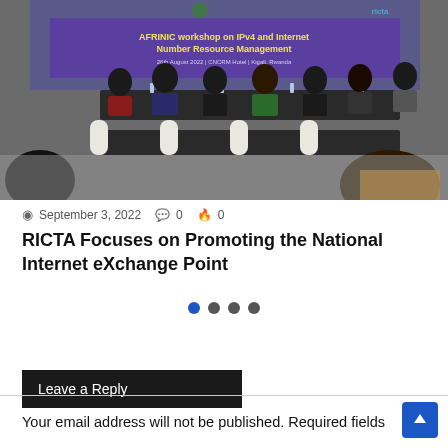[Figure (photo): Workshop photo showing attendees seated at tables in a conference room. A banner in the background reads 'AFRINIC workshop on IPv4 and Internet Number Resource Management'. RICTA logo visible top right.]
September 3, 2022  0  0
RICTA Focuses on Promoting the National Internet eXchange Point
● ● ● ●
Leave a Reply
Your email address will not be published. Required fields